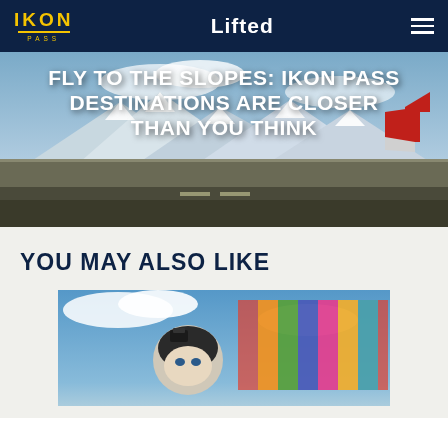IKON PASS | Lifted
[Figure (photo): Aerial/runway photo with snow-capped mountains in background and airplane tail visible, overlaid with bold white text reading FLY TO THE SLOPES: IKON PASS DESTINATIONS ARE CLOSER THAN YOU THINK]
FLY TO THE SLOPES: IKON PASS DESTINATIONS ARE CLOSER THAN YOU THINK
YOU MAY ALSO LIKE
[Figure (photo): Person wearing a ski helmet with a GoPro camera mounted on it, colorful background with flags or banners]